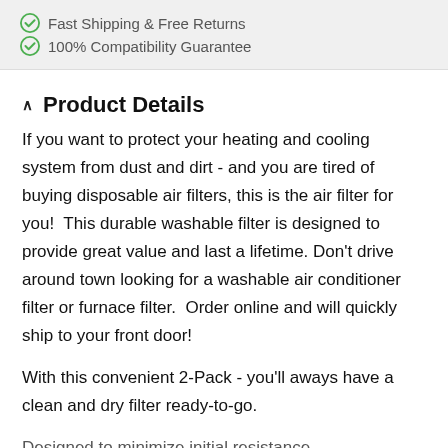Fast Shipping & Free Returns
100% Compatibility Guarantee
Product Details
If you want to protect your heating and cooling system from dust and dirt - and you are tired of buying disposable air filters, this is the air filter for you!  This durable washable filter is designed to provide great value and last a lifetime. Don't drive around town looking for a washable air conditioner filter or furnace filter.  Order online and will quickly ship to your front door!
With this convenient 2-Pack - you'll aways have a clean and dry filter ready-to-go.
Designed to minimize initial resistance...